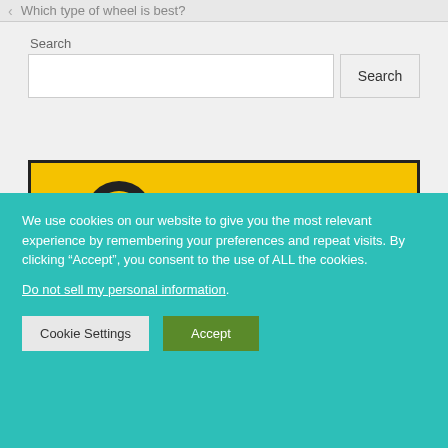Which type of wheel is best?
Search
[Figure (screenshot): Search input box with Search button]
[Figure (logo): Tirebuyer logo on yellow background with black border]
We use cookies on our website to give you the most relevant experience by remembering your preferences and repeat visits. By clicking “Accept”, you consent to the use of ALL the cookies.
Do not sell my personal information.
Cookie Settings  Accept